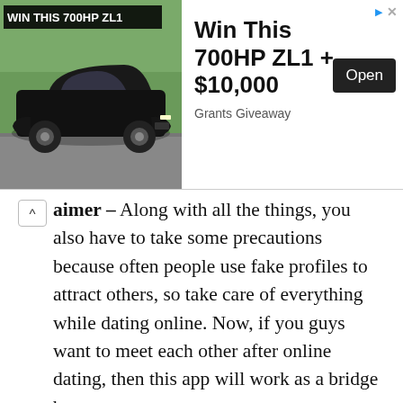[Figure (screenshot): Advertisement banner for a car giveaway. Shows a black Chevrolet Camaro ZL1 on the left with text 'WIN THIS 700HP ZL1'. On the right: 'Win This 700HP ZL1 + $10,000', 'Grants Giveaway', and an 'Open' button. There is a triangular ad icon and an X close button in the top right corner.]
aimer – Along with all the things, you also have to take some precautions because often people use fake profiles to attract others, so take care of everything while dating online. Now, if you guys want to meet each other after online dating, then this app will work as a bridge between you.
DOWNLOAD PLAY!